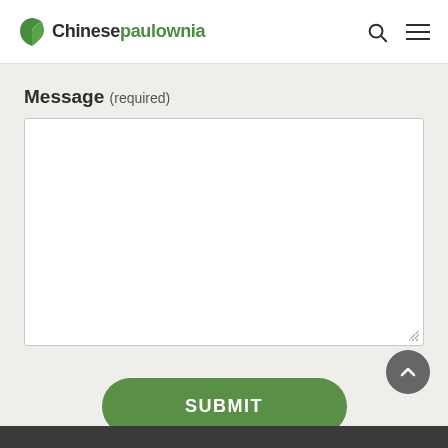Chinesepaulownia
Message (required)
[Figure (screenshot): Empty textarea input box for message entry with resize handle in bottom-right corner]
SUBMIT